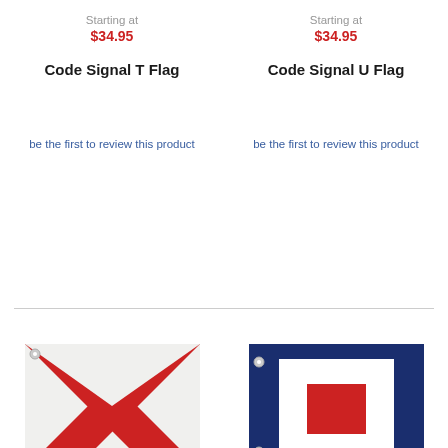Starting at
$34.95
Starting at
$34.95
Code Signal T Flag
Code Signal U Flag
be the first to review this product
be the first to review this product
[Figure (photo): Code Signal T Flag - white flag with red V-shaped stripe, with grommets]
[Figure (photo): Code Signal U Flag - navy blue flag with white square center and red square inside, with grommets]